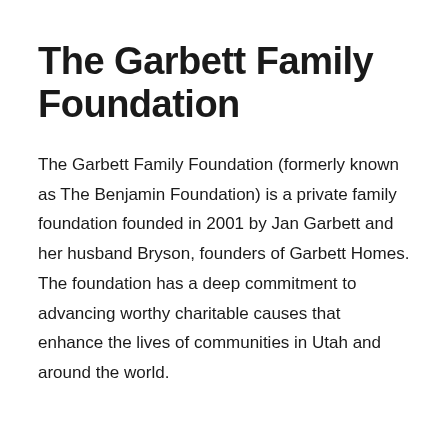The Garbett Family Foundation
The Garbett Family Foundation (formerly known as The Benjamin Foundation) is a private family foundation founded in 2001 by Jan Garbett and her husband Bryson, founders of Garbett Homes. The foundation has a deep commitment to advancing worthy charitable causes that enhance the lives of communities in Utah and around the world.